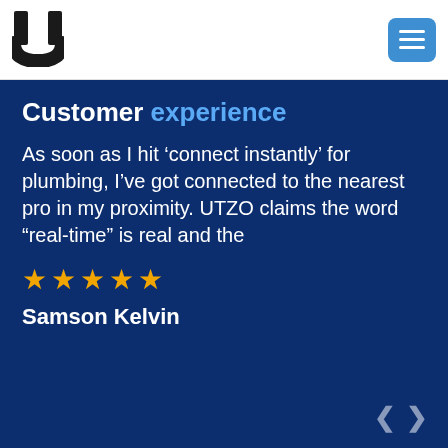[Figure (logo): UTZO logo — stylized U shape in black]
[Figure (other): Hamburger menu button, blue rounded rectangle with three white horizontal lines]
Customer experience
As soon as I hit ‘connect instantly’ for plumbing, I’ve got connected to the nearest pro in my proximity. UTZO claims the word “real-time” is real and the
[Figure (other): Five gold star rating icons]
Samson Kelvin
[Figure (other): Left and right navigation chevron arrows in grey]